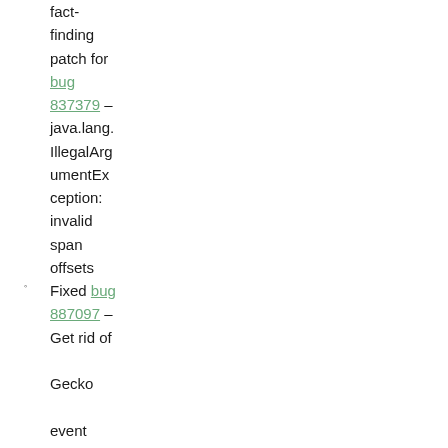fact-finding patch for bug 837379 – java.lang.IllegalArgumentException: invalid span offsets
Fixed bug 887097 – Get rid of Gecko event sync time out
Added